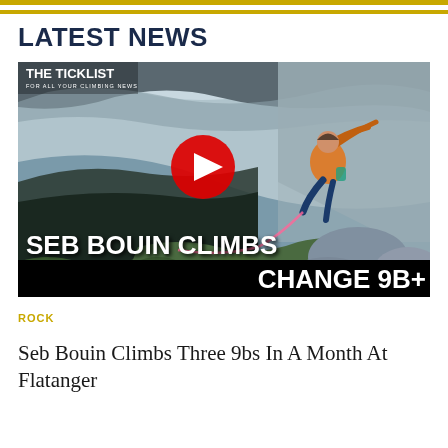LATEST NEWS
[Figure (screenshot): Video thumbnail from The Ticklist showing a rock climber on an overhanging rock face with a red play button overlay. Text reads 'SEB BOUIN CLIMBS CHANGE 9B+'.]
ROCK
Seb Bouin Climbs Three 9bs In A Month At Flatanger